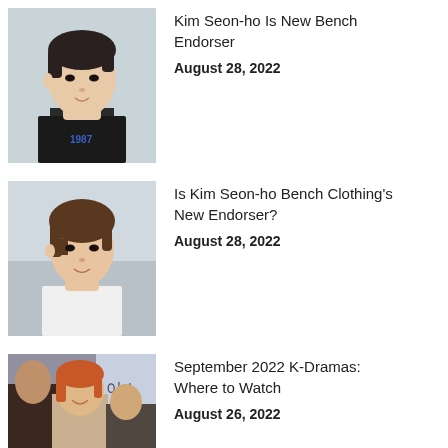[Figure (photo): Young Asian man in a dark T-shirt with '1987' graphic, looking to the side, outdoor/studio setting]
Kim Seon-ho Is New Bench Endorser
August 28, 2022
[Figure (photo): Young Asian man with medium-length brown hair in a white shirt, smiling, blurred outdoor background]
Is Kim Seon-ho Bench Clothing's New Endorser?
August 28, 2022
[Figure (photo): Collage of Korean drama actors including a woman with auburn hair and others, with Korean text in background]
September 2022 K-Dramas: Where to Watch
August 26, 2022